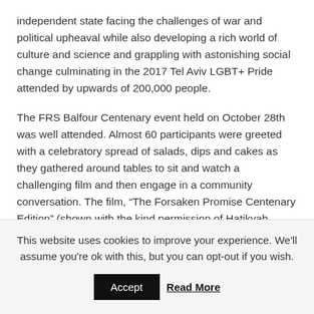independent state facing the challenges of war and political upheaval while also developing a rich world of culture and science and grappling with astonishing social change culminating in the 2017 Tel Aviv LGBT+ Pride attended by upwards of 200,000 people.
The FRS Balfour Centenary event held on October 28th was well attended. Almost 60 participants were greeted with a celebratory spread of salads, dips and cakes as they gathered around tables to sit and watch a challenging film and then engage in a community conversation. The film, “The Forsaken Promise Centenary Edition” (shown with the kind permission of Hatikvah Films) explores the evangelical Christian roots of the Balfour Declaration and argues that Britain reneged on the promise in the Declaration. The film is not an easy watch,
This website uses cookies to improve your experience. We'll assume you're ok with this, but you can opt-out if you wish.
Accept | Read More